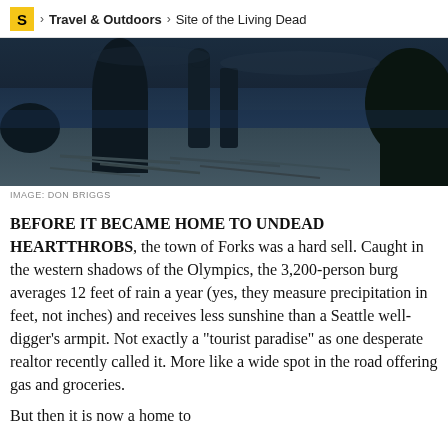S > Travel & Outdoors > Site of the Living Dead
[Figure (photo): Dark moody coastal scene with large sea stacks and driftwood on a rocky beach at dusk or night, dim blue-grey tones]
IMAGE: DON BRIGGS
BEFORE IT BECAME HOME TO UNDEAD HEARTTHROBS, the town of Forks was a hard sell. Caught in the western shadows of the Olympics, the 3,200-person burg averages 12 feet of rain a year (yes, they measure precipitation in feet, not inches) and receives less sunshine than a Seattle well-digger’s armpit. Not exactly a “tourist paradise” as one desperate realtor recently called it. More like a wide spot in the road offering gas and groceries.
But then it is now a home to...